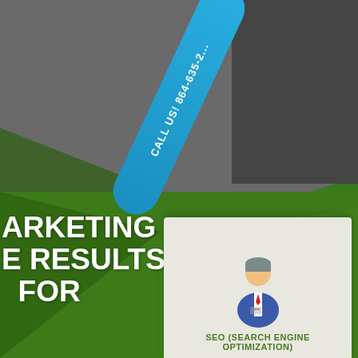[Figure (infographic): Marketing infographic with green background, gray 3D perspective ceiling area at top, a rotated blue phone tab with 'CALL US! 864-635-2...' text, white bold text reading 'ARKETING E RESULTS FOR' (partial, left side cut off), and a card at the bottom showing an illustrated business person icon with text 'SEO (SEARCH ENGINE OPTIMIZATION)']
CALL US! 864-635-2...
ARKETING E RESULTS FOR
SEO (SEARCH ENGINE OPTIMIZATION)